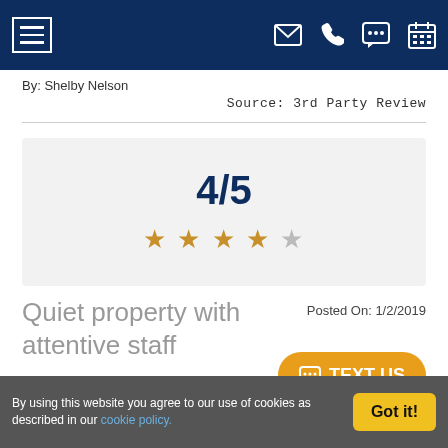Navigation header with hamburger menu and icons for email, phone, chat, calendar
By: Shelby Nelson
Source: 3rd Party Review
[Figure (infographic): Rating display showing 4/5 score with 4 filled gold stars and 1 empty star on a light gray background]
Posted On: 1/2/2019
Quiet property with attentive staff
TEXT US
By using this website you agree to our use of cookies as described in our cookie policy.